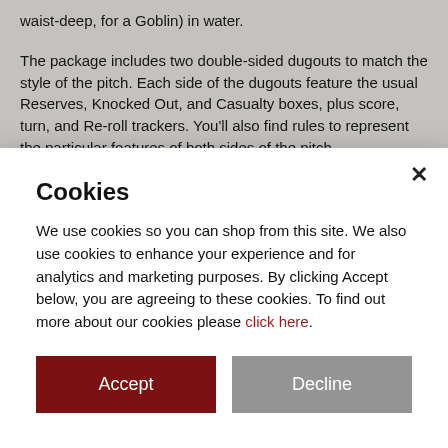waist-deep, for a Goblin) in water.
The package includes two double-sided dugouts to match the style of the pitch. Each side of the dugouts feature the usual Reserves, Knocked Out, and Casualty boxes, plus score, turn, and Re-roll trackers. You'll also find rules to represent the particular features of both sides of the pitch.
Cookies
We use cookies so you can shop from this site. We also use cookies to enhance your experience and for analytics and marketing purposes. By clicking Accept below, you are agreeing to these cookies. To find out more about our cookies please click here.